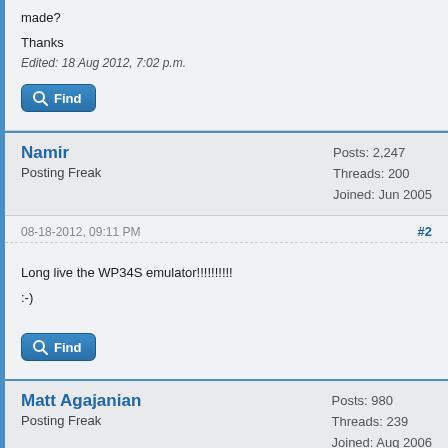made?
Thanks
Edited: 18 Aug 2012, 7:02 p.m.
Find
Namir
Posting Freak
Posts: 2,247
Threads: 200
Joined: Jun 2005
08-18-2012, 09:11 PM	#2
Long live the WP34S emulator!!!!!!!!!!
:-)
Find
Matt Agajanian
Posting Freak
Posts: 980
Threads: 239
Joined: Aug 2006